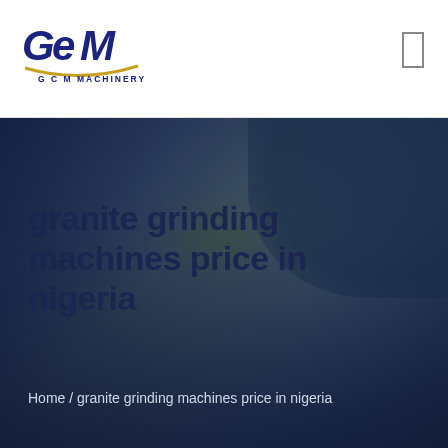[Figure (logo): GCM Machinery logo with stylized 'GeM' text in dark blue and gold underline arc, with 'G C M  MACHINERY' text below]
granite grinding machines price in nigeria
Home / granite grinding machines price in nigeria
[Figure (photo): Blurred dark blue background hero image showing industrial machinery, with overlaid title text]